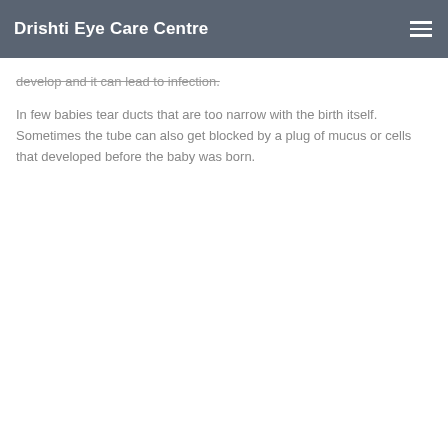Drishti Eye Care Centre
develop and it can lead to infection.
In few babies tear ducts that are too narrow with the birth itself. Sometimes the tube can also get blocked by a plug of mucus or cells that developed before the baby was born.